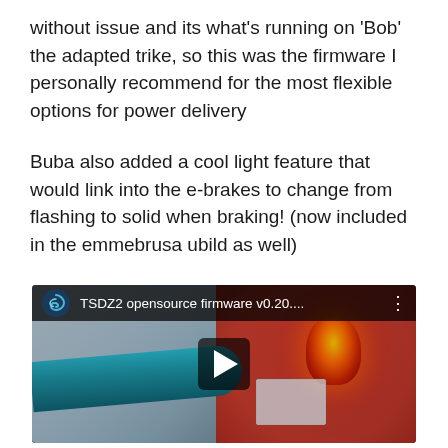without issue and its what's running on 'Bob' the adapted trike, so this was the firmware I personally recommend for the most flexible options for power delivery
Buba also added a cool light feature that would link into the e-brakes to change from flashing to solid when braking! (now included in the emmebrusa ubild as well)
[Figure (screenshot): YouTube video thumbnail showing 'TSDZ2 opensource firmware v0.20....' with a bicycle handlebar (teal/blue) and a red/orange rear light glowing, with a display panel visible. Includes channel spiral logo, video title, three-dot menu, and a play button overlay.]